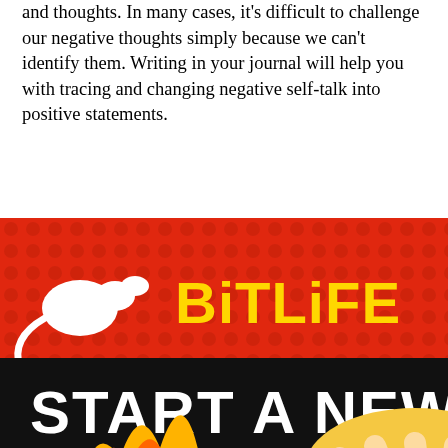and thoughts. In many cases, it's difficult to challenge our negative thoughts simply because we can't identify them. Writing in your journal will help you with tracing and changing negative self-talk into positive statements.
A good place to start would be to have two columns, one for the criticism of your day into ol for fe. But for it t in your
[Figure (illustration): BitLife advertisement banner showing a cartoon blonde girl doing a facepalm with text 'START A NEW LIFE' on black bar and 'FAIL' stamp, on red dotted background. Sperm mascot logo with BitLife logo in yellow text.]
vely ore practice new habit, ncy and